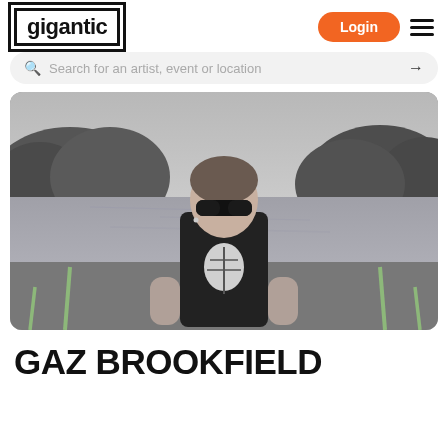gigantic | Login | menu
Search for an artist, event or location
[Figure (photo): Black and white photo of Gaz Brookfield, a man with short hair and sunglasses wearing a black t-shirt with a tree/leaf graphic, sitting on a circular metal platform or observation deck with a lake and forested hills in the background.]
GAZ BROOKFIELD